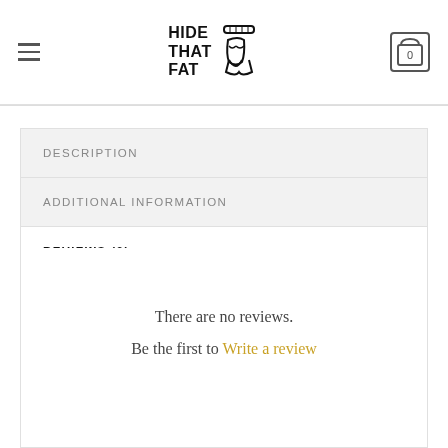HIDE THAT FAT — navigation header with hamburger menu and cart icon showing 0
DESCRIPTION
ADDITIONAL INFORMATION
REVIEWS (0)
There are no reviews.
Be the first to Write a review